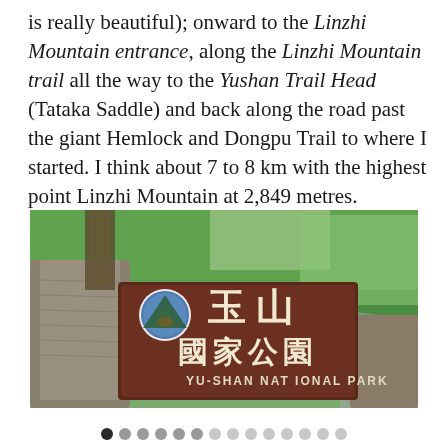is really beautiful); onward to the Linzhi Mountain entrance, along the Linzhi Mountain trail all the way to the Yushan Trail Head (Tataka Saddle) and back along the road past the giant Hemlock and Dongpu Trail to where I started. I think about 7 to 8 km with the highest point Linzhi Mountain at 2,849 metres.
[Figure (photo): Entrance sign for Yu-Shan National Park (玉山國家公園) with large Chinese characters on a dark brown stone/wood sign with a circular logo. Dense green forest trees visible in background.]